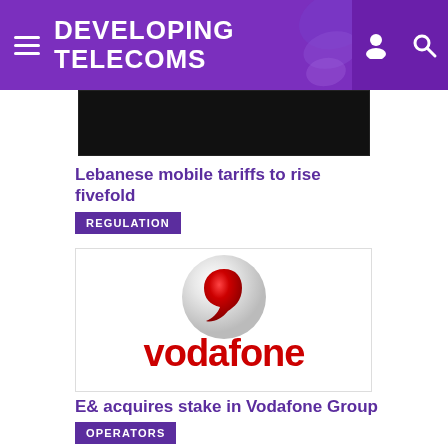DEVELOPING TELECOMS
[Figure (photo): Dark/black image strip, partial article image]
Lebanese mobile tariffs to rise fivefold
REGULATION
[Figure (logo): Vodafone logo: red speech mark icon on silver sphere above red 'vodafone' text]
E& acquires stake in Vodafone Group
OPERATORS